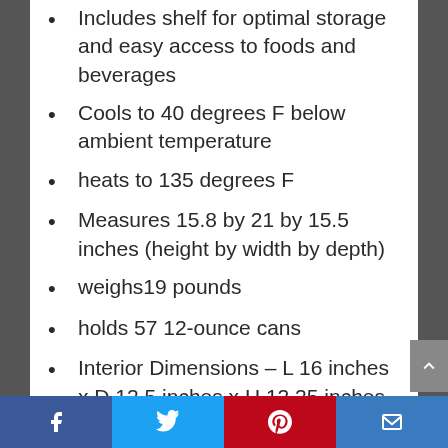Includes shelf for optimal storage and easy access to foods and beverages
Cools to 40 degrees F below ambient temperature
heats to 135 degrees F
Measures 15.8 by 21 by 15.5 inches (height by width by depth)
weighs19 pounds
holds 57 12-ounce cans
Interior Dimensions – L 16 inches x D 12.5 inches x H 12.25 inches
Social share bar: Facebook, Twitter, Pinterest, Email